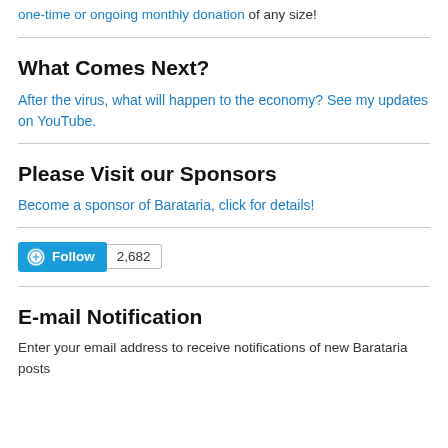one-time or ongoing monthly donation of any size!
What Comes Next?
After the virus, what will happen to the economy? See my updates on YouTube.
Please Visit our Sponsors
Become a sponsor of Barataria, click for details!
[Figure (other): WordPress Follow button with follower count 2,682]
E-mail Notification
Enter your email address to receive notifications of new Barataria posts